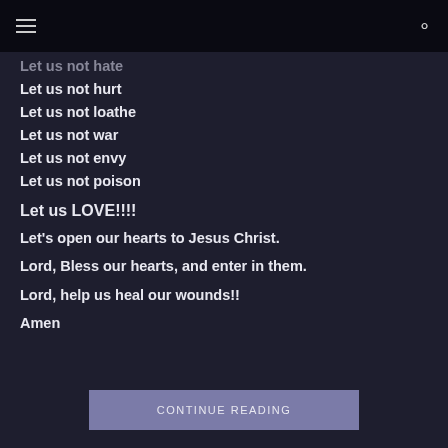≡  🔍
Let us not hate
Let us not hurt
Let us not loathe
Let us not war
Let us not envy
Let us not poison
Let us LOVE!!!!
Let's open our hearts to Jesus Christ.
Lord, Bless our hearts, and enter in them.
Lord, help us heal our wounds!!
Amen
CONTINUE READING